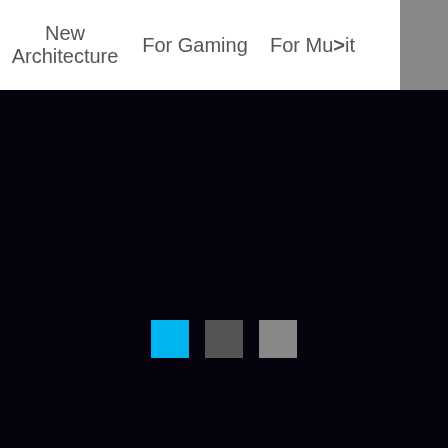New Architecture    For Gaming    For Mu>it
[Figure (screenshot): Dark navy/black background filling the lower portion of the page with three small square indicator dots near the center-bottom area. The first dot is bright cyan/blue, the second is dark gray, and the third is lighter gray.]